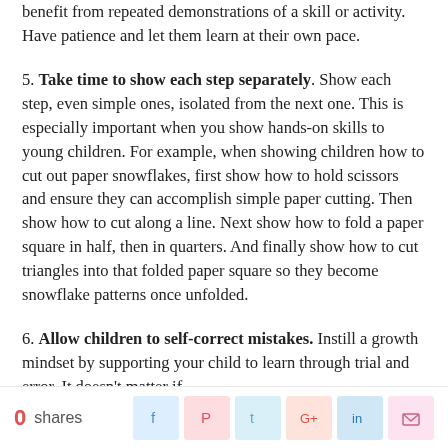benefit from repeated demonstrations of a skill or activity. Have patience and let them learn at their own pace.
5. Take time to show each step separately. Show each step, even simple ones, isolated from the next one. This is especially important when you show hands-on skills to young children. For example, when showing children how to cut out paper snowflakes, first show how to hold scissors and ensure they can accomplish simple paper cutting. Then show how to cut along a line. Next show how to fold a paper square in half, then in quarters. And finally show how to cut triangles into that folded paper square so they become snowflake patterns once unfolded.
6. Allow children to self-correct mistakes. Instill a growth mindset by supporting your child to learn through trial and error. It doesn't matter if
0 shares